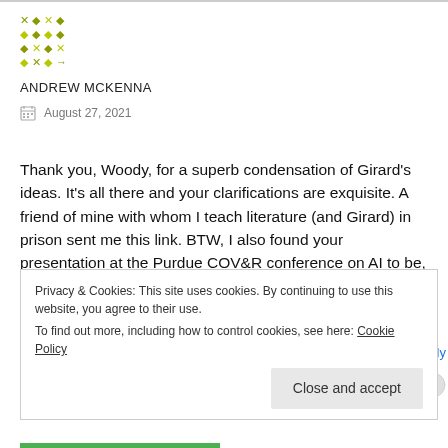[Figure (logo): Green/yellow decorative grid/dot pattern logo]
ANDREW MCKENNA
August 27, 2021
Thank you, Woody, for a superb condensation of Girard's ideas. It's all there and your clarifications are exquisite. A friend of mine with whom I teach literature (and Girard) in prison sent me this link. BTW, I also found your presentation at the Purdue COV&R conference on AI to be, for clarity and coherence, among the best contributions. We are now informed that on line access to them is available. I think yours should be included in your website.
Privacy & Cookies: This site uses cookies. By continuing to use this website, you agree to their use.
To find out more, including how to control cookies, see here: Cookie Policy
Close and accept